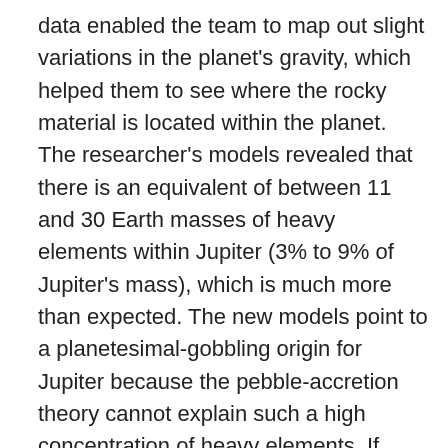data enabled the team to map out slight variations in the planet's gravity, which helped them to see where the rocky material is located within the planet. The researcher's models revealed that there is an equivalent of between 11 and 30 Earth masses of heavy elements within Jupiter (3% to 9% of Jupiter's mass), which is much more than expected. The new models point to a planetesimal-gobbling origin for Jupiter because the pebble-accretion theory cannot explain such a high concentration of heavy elements. If Jupiter had initially formed from pebbles, the eventual onset of the gas accretion process, once the planet was large enough, would have immediately ended the rocky accretion stage. This is because the growing layer of gas would have created a pressure barrier that stopped additional pebbles from being pulled inside the planet. This curtailed rocky accretion phase would likely have given